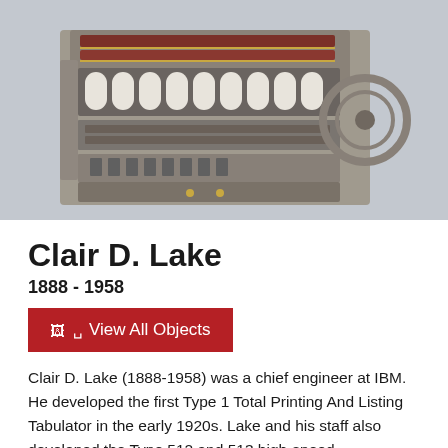[Figure (photo): Vintage IBM tabulating machine, a mechanical calculator with rows of knobs, rollers, and gears, photographed against a light gray background.]
Clair D. Lake
1888 - 1958
View All Objects
Clair D. Lake (1888-1958) was a chief engineer at IBM. He developed the first Type 1 Total Printing And Listing Tabulator in the early 1920s. Lake and his staff also developed the Type 512 and 513 high-speed reproducers and many machines